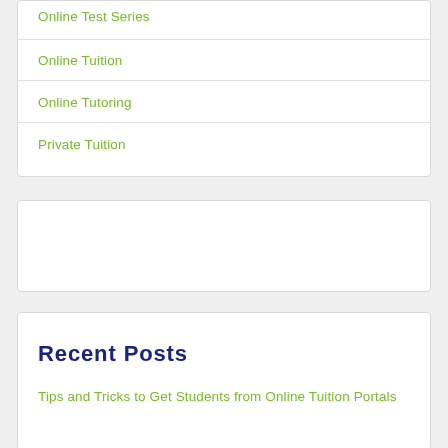Online Test Series
Online Tuition
Online Tutoring
Private Tuition
Recent Posts
Tips and Tricks to Get Students from Online Tuition Portals